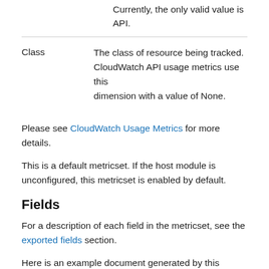Currently, the only valid value is API.
Class	The class of resource being tracked. CloudWatch API usage metrics use this dimension with a value of None.
Please see CloudWatch Usage Metrics for more details.
This is a default metricset. If the host module is unconfigured, this metricset is enabled by default.
Fields
For a description of each field in the metricset, see the exported fields section.
Here is an example document generated by this